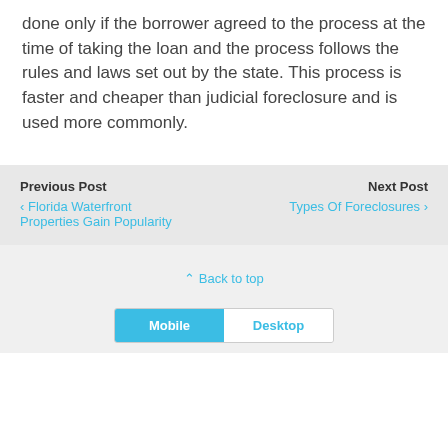done only if the borrower agreed to the process at the time of taking the loan and the process follows the rules and laws set out by the state. This process is faster and cheaper than judicial foreclosure and is used more commonly.
Previous Post
‹ Florida Waterfront Properties Gain Popularity
Next Post
Types Of Foreclosures ›
⌃ Back to top
Mobile
Desktop